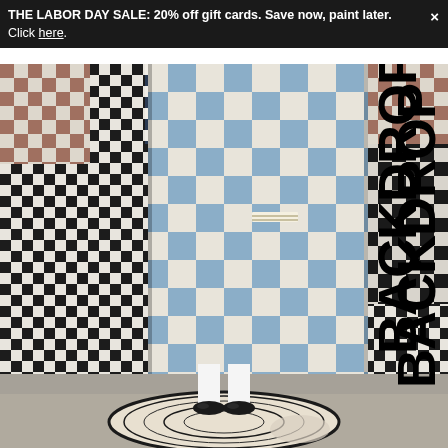THE LABOR DAY SALE: 20% off gift cards. Save now, paint later. Click here.
[Figure (photo): Person standing in front of a large blue and white checkerboard painted wall panel, surrounded by other checkerboard tile walls in black/white and brown/white patterns. Person wears white pants and black loafers and stands on a decorative rug. The brand logo 'BACKDROP' appears vertically on the right side of the image.]